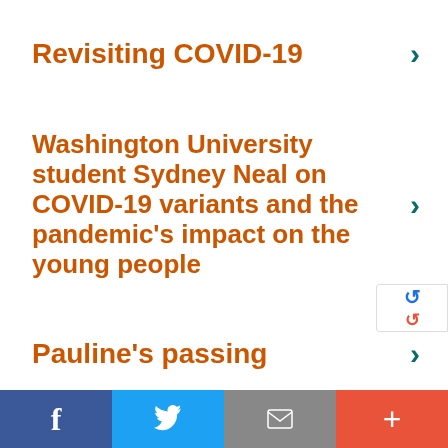Revisiting COVID-19
Washington University student Sydney Neal on COVID-19 variants and the pandemic's impact on the young people
Pauline's passing